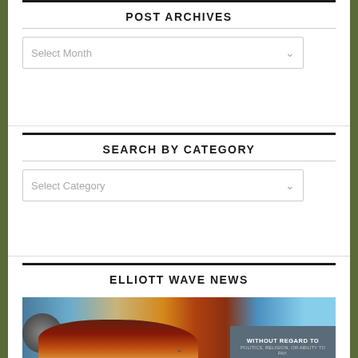POST ARCHIVES
Select Month
SEARCH BY CATEGORY
Select Category
ELLIOTT WAVE NEWS
[Figure (photo): Cargo aircraft being loaded on tarmac with banner overlay reading WITHOUT REGARD TO POLITICS, RELIGION, OR ABILITY TO PAY.]